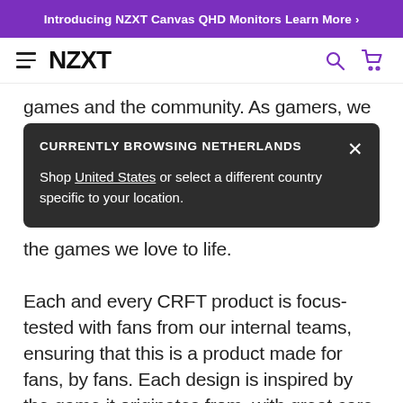Introducing NZXT Canvas QHD Monitors Learn More ›
NZXT
games and the community. As gamers, we
CURRENTLY BROWSING NETHERLANDS
Shop United States or select a different country specific to your location.
the games we love to life.

Each and every CRFT product is focus-tested with fans from our internal teams, ensuring that this is a product made for fans, by fans. Each design is inspired by the game it originates from, with great care taken to include fan-recognizable elements that are true to the game. Oftentimes subtle aspects of design are even just for the superfans who know every detail of the lore and can quote the game